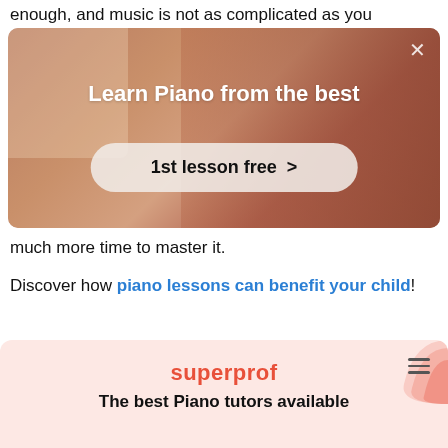enough, and music is not as complicated as you
[Figure (screenshot): Advertisement overlay showing a person playing piano in a warmly lit room. Overlay text reads 'Learn Piano from the best' with a button '1st lesson free >' and a close (X) button in the top right corner.]
much more time to master it.
Discover how piano lessons can benefit your child!
[Figure (screenshot): Superprof app/website card with pink background showing 'superprof' in red text, a hamburger menu icon, and 'The best Piano tutors available' in bold black text.]